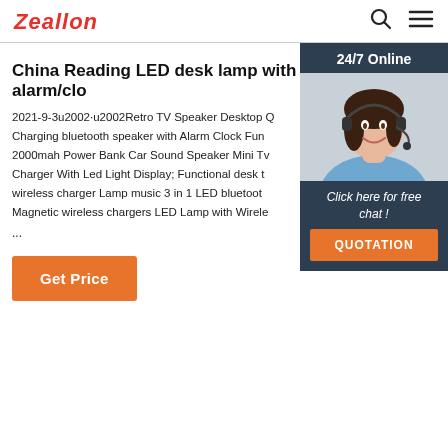Zeallon
China Reading LED desk lamp with alarm/clo
2021-9-3u2002·u2002Retro TV Speaker Desktop Q Charging bluetooth speaker with Alarm Clock Fun 2000mah Power Bank Car Sound Speaker Mini Tv Charger With Led Light Display; Functional desk t wireless charger Lamp music 3 in 1 LED bluetoot Magnetic wireless chargers LED Lamp with Wirele ...
Get Price
[Figure (photo): Customer service agent photo with headset, smiling woman]
24/7 Online
Click here for free chat !
QUOTATION